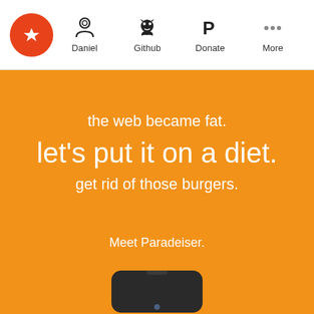Daniel | Github | Donate | More
the web became fat. let's put it on a diet. get rid of those burgers.
Meet Paradeiser.
[Figure (illustration): Bottom portion of a dark-colored mobile device / router with a camera lens visible]